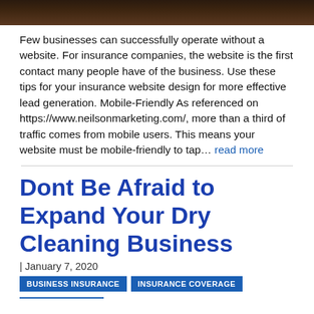[Figure (photo): Dark brown photo bar at the top of the page, partial image visible]
Few businesses can successfully operate without a website. For insurance companies, the website is the first contact many people have of the business. Use these tips for your insurance website design for more effective lead generation. Mobile-Friendly As referenced on https://www.neilsonmarketing.com/, more than a third of traffic comes from mobile users. This means your website must be mobile-friendly to tap… read more
Dont Be Afraid to Expand Your Dry Cleaning Business
| January 7, 2020
BUSINESS INSURANCE   INSURANCE COVERAGE